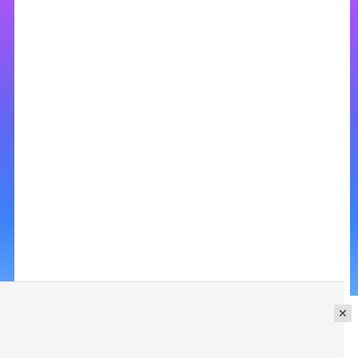HR Internship | OYO Rooms | Internship Alert | Latest Internship 2022
Advertisements